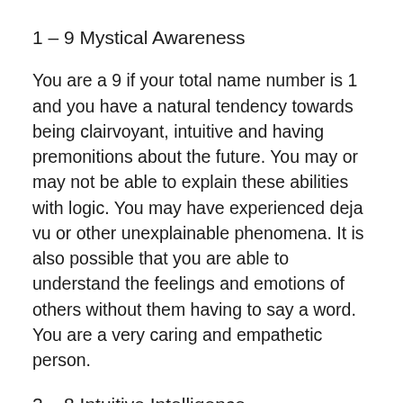1 – 9 Mystical Awareness
You are a 9 if your total name number is 1 and you have a natural tendency towards being clairvoyant, intuitive and having premonitions about the future. You may or may not be able to explain these abilities with logic. You may have experienced deja vu or other unexplainable phenomena. It is also possible that you are able to understand the feelings and emotions of others without them having to say a word. You are a very caring and empathetic person.
2 – 8 Intuitive Intelligence
You are an 8 if your total name number is 2 and you have a natural ability to understand